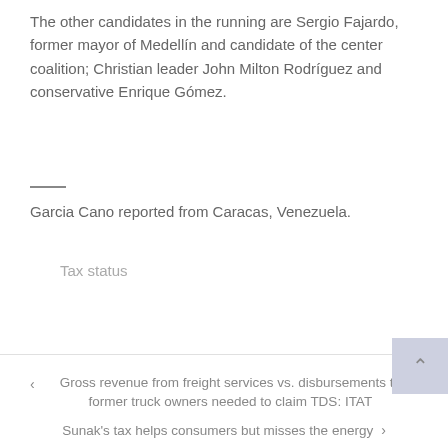The other candidates in the running are Sergio Fajardo, former mayor of Medellín and candidate of the center coalition; Christian leader John Milton Rodríguez and conservative Enrique Gómez.
Garcia Cano reported from Caracas, Venezuela.
Tax status
< Gross revenue from freight services vs. disbursements to former truck owners needed to claim TDS: ITAT
Sunak's tax helps consumers but misses the energy >